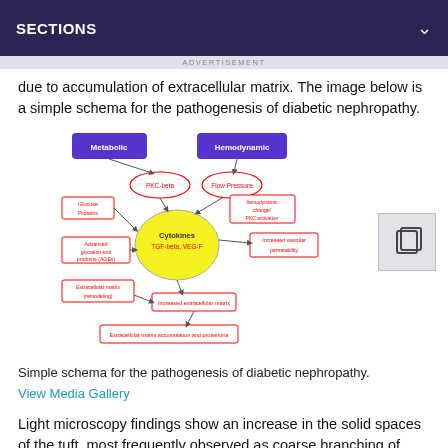SECTIONS
due to accumulation of extracellular matrix. The image below is a simple schema for the pathogenesis of diabetic nephropathy.
[Figure (flowchart): Simple schema for the pathogenesis of diabetic nephropathy. Shows Metabolic and Hemodynamic inputs leading to Cytokines (TGF-beta, VEG-F) via PKC-beta, Flow Pressure, Glucose Proteins, hemodynamic change/PKC activation, Advanced glycation end products (AGEs), leading to Increased vascular permeability, Extracellular matrix remodeling, Increased extracellular matrix, and ultimately Extracellular matrix accumulation and proteinuria.]
Simple schema for the pathogenesis of diabetic nephropathy.
View Media Gallery
Light microscopy findings show an increase in the solid spaces of the tuft, most frequently observed as coarse branching of solid (positive periodic-acid Schiff reaction)